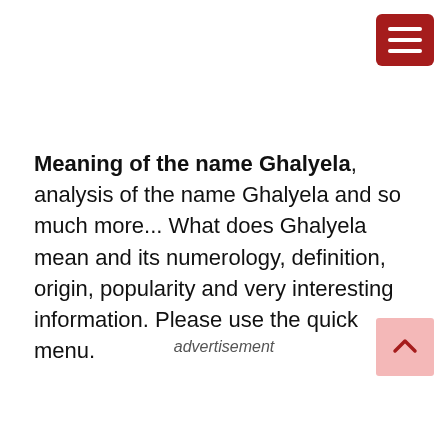[Figure (other): Hamburger menu button — dark red/crimson rounded rectangle with three white horizontal lines]
Meaning of the name Ghalyela, analysis of the name Ghalyela and so much more... What does Ghalyela mean and its numerology, definition, origin, popularity and very interesting information. Please use the quick menu.
advertisement
[Figure (other): Back-to-top button — light pink square with an upward-pointing caret/chevron symbol]